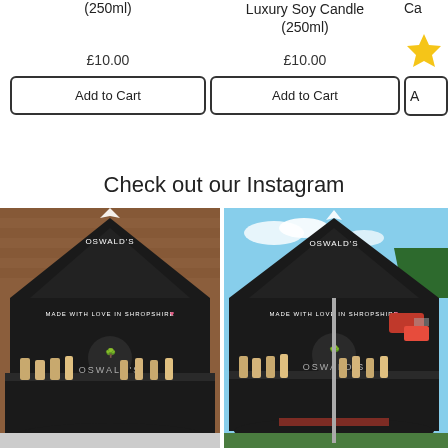(250ml)
Luxury Soy Candle (250ml)
Ca…
£10.00
£10.00
Add to Cart
Add to Cart
Check out our Instagram
[Figure (photo): Two Oswald's market stall photos side by side showing black gazebo tents with 'Made with love in Shropshire' branding and product displays on tables]